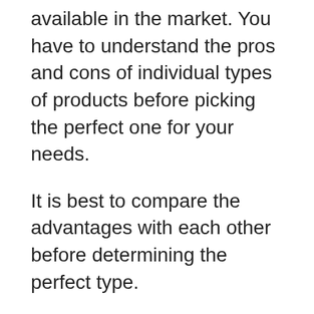available in the market. You have to understand the pros and cons of individual types of products before picking the perfect one for your needs.
It is best to compare the advantages with each other before determining the perfect type.
Instruction Manual
Before you can utilize a product, often there are some fundamental guidelines that must be followed to get the most out of it. While some